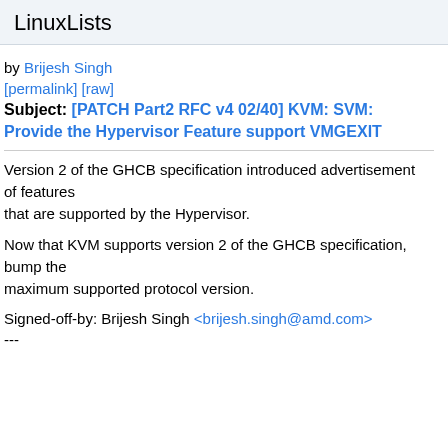LinuxLists
by Brijesh Singh
[permalink] [raw]
Subject: [PATCH Part2 RFC v4 02/40] KVM: SVM: Provide the Hypervisor Feature support VMGEXIT
Version 2 of the GHCB specification introduced advertisement of features that are supported by the Hypervisor.
Now that KVM supports version 2 of the GHCB specification, bump the maximum supported protocol version.
Signed-off-by: Brijesh Singh <brijesh.singh@amd.com>
---